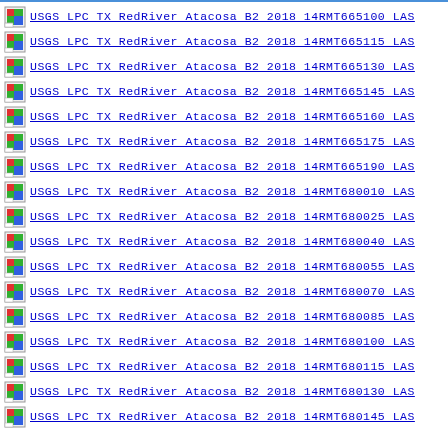USGS LPC TX RedRiver Atacosa B2 2018 14RMT665100 LAS
USGS LPC TX RedRiver Atacosa B2 2018 14RMT665115 LAS
USGS LPC TX RedRiver Atacosa B2 2018 14RMT665130 LAS
USGS LPC TX RedRiver Atacosa B2 2018 14RMT665145 LAS
USGS LPC TX RedRiver Atacosa B2 2018 14RMT665160 LAS
USGS LPC TX RedRiver Atacosa B2 2018 14RMT665175 LAS
USGS LPC TX RedRiver Atacosa B2 2018 14RMT665190 LAS
USGS LPC TX RedRiver Atacosa B2 2018 14RMT680010 LAS
USGS LPC TX RedRiver Atacosa B2 2018 14RMT680025 LAS
USGS LPC TX RedRiver Atacosa B2 2018 14RMT680040 LAS
USGS LPC TX RedRiver Atacosa B2 2018 14RMT680055 LAS
USGS LPC TX RedRiver Atacosa B2 2018 14RMT680070 LAS
USGS LPC TX RedRiver Atacosa B2 2018 14RMT680085 LAS
USGS LPC TX RedRiver Atacosa B2 2018 14RMT680100 LAS
USGS LPC TX RedRiver Atacosa B2 2018 14RMT680115 LAS
USGS LPC TX RedRiver Atacosa B2 2018 14RMT680130 LAS
USGS LPC TX RedRiver Atacosa B2 2018 14RMT680145 LAS